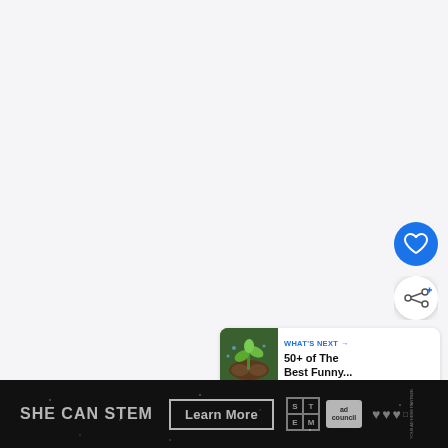[Figure (illustration): Large light gray/white blank content area taking up most of the page, representing an empty or loaded article/image area in a web interface]
[Figure (other): Blue circular button with white heart icon (favorite/like button)]
[Figure (other): White circular button with share icon (share button)]
[Figure (other): WHAT'S NEXT panel with thumbnail image of hands holding plant/seedling and text '50+ of The Best Funny...']
[Figure (other): SHE CAN STEM advertisement banner at the bottom with Learn More button, STEM logo, Ad Council logo and Mediavine logo on dark background]